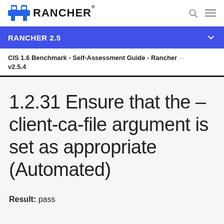RANCHER
RANCHER 2.5
CIS 1.6 Benchmark - Self-Assessment Guide - Rancher v2.5.4
1.2.31 Ensure that the –client-ca-file argument is set as appropriate (Automated)
Result: pass